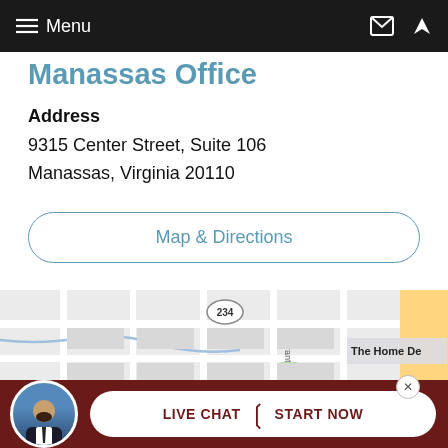Menu
Manassas Office
Address
9315 Center Street, Suite 106
Manassas, Virginia 20110
Map & Directions
[Figure (map): Street map of Manassas area showing road 234, Grant Ave, and surrounding streets near the office location. The Home Depot label partially visible in top right.]
LIVE CHAT | START NOW